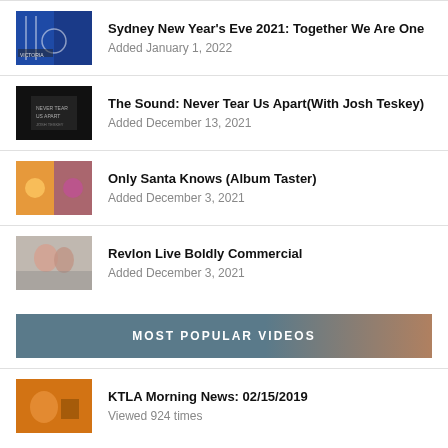Sydney New Year's Eve 2021: Together We Are One
Added January 1, 2022
The Sound: Never Tear Us Apart(With Josh Teskey)
Added December 13, 2021
Only Santa Knows (Album Taster)
Added December 3, 2021
Revlon Live Boldly Commercial
Added December 3, 2021
MOST POPULAR VIDEOS
KTLA Morning News: 02/15/2019
Viewed 924 times